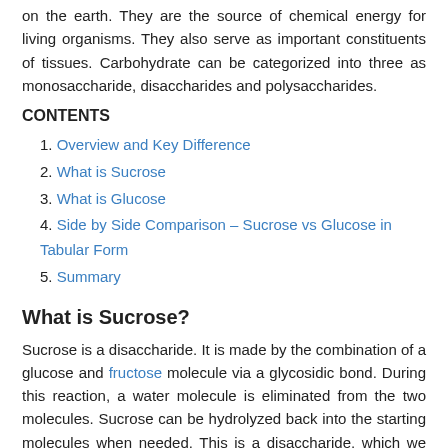on the earth. They are the source of chemical energy for living organisms. They also serve as important constituents of tissues. Carbohydrate can be categorized into three as monosaccharide, disaccharides and polysaccharides.
CONTENTS
1. Overview and Key Difference
2. What is Sucrose
3. What is Glucose
4. Side by Side Comparison – Sucrose vs Glucose in Tabular Form
5. Summary
What is Sucrose?
Sucrose is a disaccharide. It is made by the combination of a glucose and fructose molecule via a glycosidic bond. During this reaction, a water molecule is eliminated from the two molecules. Sucrose can be hydrolyzed back into the starting molecules when needed. This is a disaccharide, which we find commonly in